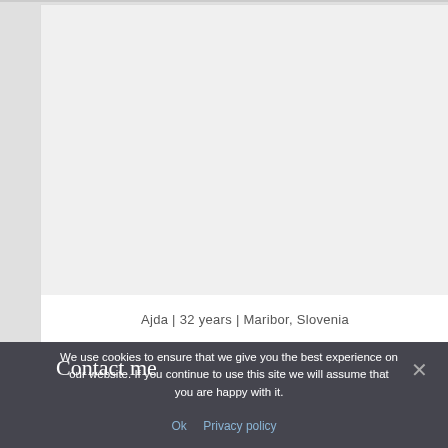[Figure (photo): Profile photo card showing a person named Ajda, 32 years old, from Maribor, Slovenia. The photo area is mostly white/blank in this view.]
Ajda | 32 years | Maribor, Slovenia
We use cookies to ensure that we give you the best experience on our website. If you continue to use this site we will assume that you are happy with it.
Contact me
Ok   Privacy policy